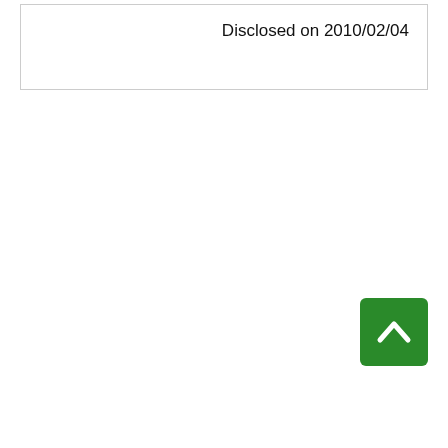Disclosed on 2010/02/04
[Figure (other): Green square button with white upward-pointing chevron arrow (back to top button)]